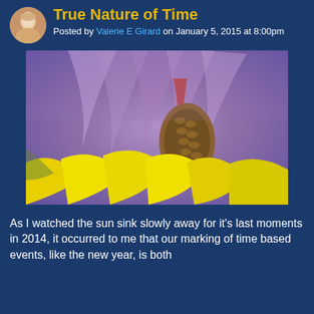True Nature of Time
Posted by Valerie E Girard on January 5, 2015 at 8:00pm
[Figure (photo): Close-up macro photograph of a flower interior showing purple/pink petals with yellow petals at the bottom and detailed stamen/pistil structures with brownish-golden textures in the center.]
As I watched the sun sink slowly away for it's last moments in 2014, it occurred to me that our marking of time based events, like the new year, is both